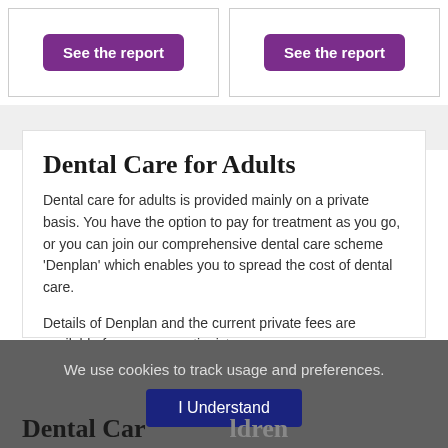[Figure (other): Two 'See the report' purple buttons in separate bordered cells side by side]
Dental Care for Adults
Dental care for adults is provided mainly on a private basis. You have the option to pay for treatment as you go, or you can join our comprehensive dental care scheme 'Denplan' which enables you to spread the cost of dental care.
Details of Denplan and the current private fees are available from our receptionist.
We use cookies to track usage and preferences.
[Figure (other): I Understand button (dark blue) for cookie consent overlay]
Dental Care for Children